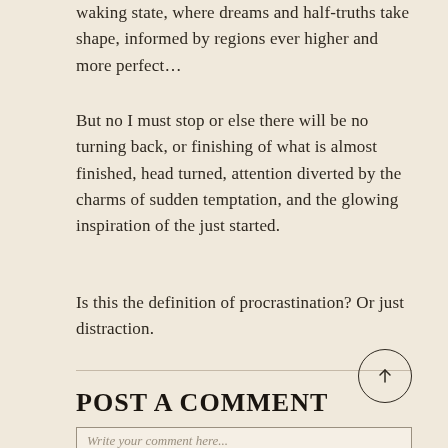waking state, where dreams and half-truths take shape, informed by regions ever higher and more perfect…
But no I must stop or else there will be no turning back, or finishing of what is almost finished, head turned, attention diverted by the charms of sudden temptation, and the glowing inspiration of the just started.
Is this the definition of procrastination? Or just distraction.
POST A COMMENT
Write your comment here...